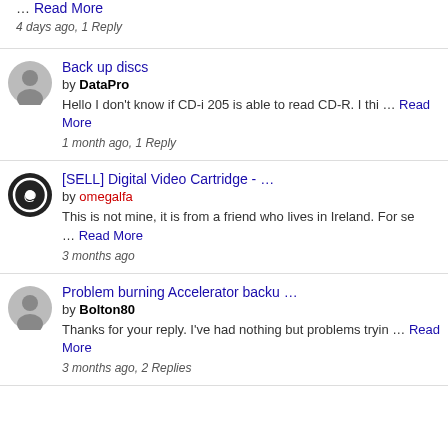… Read More
4 days ago, 1 Reply
Back up discs by DataPro Hello I don't know if CD-i 205 is able to read CD-R. I thi … Read More 1 month ago, 1 Reply
[SELL] Digital Video Cartridge - … by omegalfa This is not mine, it is from a friend who lives in Ireland. For se … Read More 3 months ago
Problem burning Accelerator backu … by Bolton80 Thanks for your reply. I've had nothing but problems tryin … Read More 3 months ago, 2 Replies